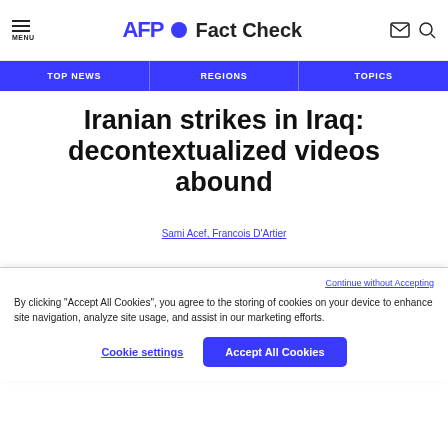AFP Fact Check
TOP NEWS | REGIONS | TOPICS
Iranian strikes in Iraq: decontextualized videos abound
Sami Acef, Francois D'Artier
Continue without Accepting
By clicking “Accept All Cookies”, you agree to the storing of cookies on your device to enhance site navigation, analyze site usage, and assist in our marketing efforts.
Cookie settings | Accept All Cookies